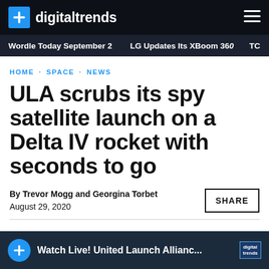digitaltrends
Wordle Today September 2  LG Updates Its XBoom 360  TC
HOME · SPACE · NEWS
ULA scrubs its spy satellite launch on a Delta IV rocket with seconds to go
By Trevor Mogg and Georgina Torbet
August 29, 2020
SHARE
[Figure (screenshot): Video preview bar showing 'Watch Live! United Launch Allianc...' with Digital Trends logo]